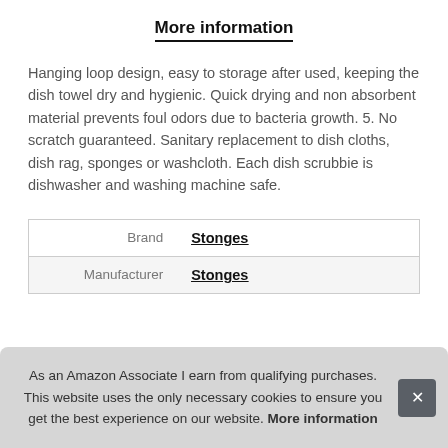More information
Hanging loop design, easy to storage after used, keeping the dish towel dry and hygienic. Quick drying and non absorbent material prevents foul odors due to bacteria growth. 5. No scratch guaranteed. Sanitary replacement to dish cloths, dish rag, sponges or washcloth. Each dish scrubbie is dishwasher and washing machine safe.
|  |  |
| --- | --- |
| Brand | Stonges |
| Manufacturer | Stonges |
As an Amazon Associate I earn from qualifying purchases. This website uses the only necessary cookies to ensure you get the best experience on our website. More information